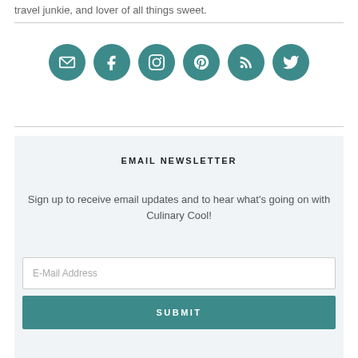travel junkie, and lover of all things sweet.
[Figure (infographic): Six teal circular social media icons: email, Facebook, Instagram, Pinterest, RSS, Twitter]
EMAIL NEWSLETTER
Sign up to receive email updates and to hear what's going on with Culinary Cool!
E-Mail Address
SUBMIT